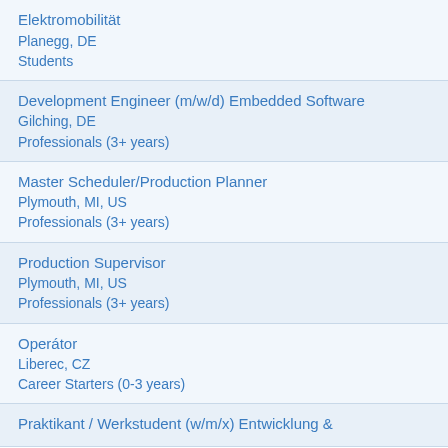Elektromobilität
Planegg, DE
Students
Development Engineer (m/w/d) Embedded Software
Gilching, DE
Professionals (3+ years)
Master Scheduler/Production Planner
Plymouth, MI, US
Professionals (3+ years)
Production Supervisor
Plymouth, MI, US
Professionals (3+ years)
Operátor
Liberec, CZ
Career Starters (0-3 years)
Praktikant / Werkstudent (w/m/x) Entwicklung &